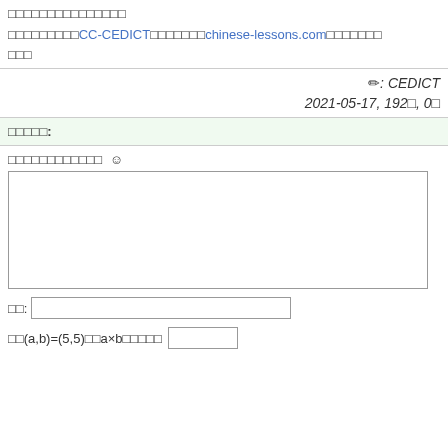□□□□□□□□□□□□□□□
□□□□□□□□□CC-CEDICT□□□□□□□chinese-lessons.com□□□□□□□□□
✏: CEDICT
2021-05-17, 192□, 0□
□□□□□:
□□□□□□□□□□□□ ☺
[textarea]
□□: [input]
□□(a,b)=(5,5)□□a×b□□□□□ [input]